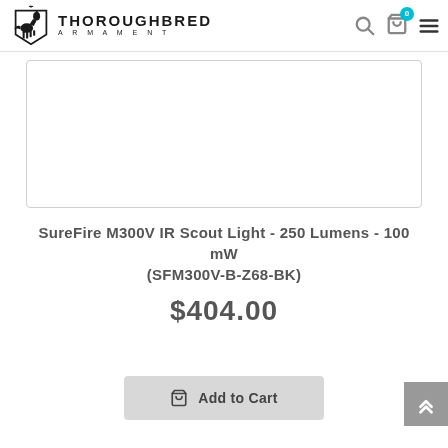Thoroughbred Armament
[Figure (photo): Product image area for SureFire M300V IR Scout Light, white background with rounded border]
SureFire M300V IR Scout Light - 250 Lumens - 100 mW (SFM300V-B-Z68-BK)
$404.00
Add to Cart